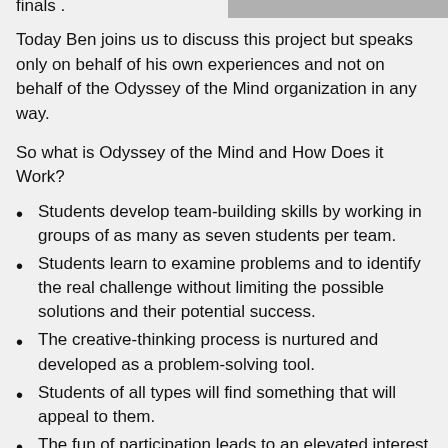finals .
[Figure (photo): Partial photo visible at top right of the page, appears to show a person or group, mostly cropped out.]
Today Ben joins us to discuss this project but speaks only on behalf of his own experiences and not on behalf of the Odyssey of the Mind organization in any way.
So what is Odyssey of the Mind and How Does it Work?
Students develop team-building skills by working in groups of as many as seven students per team.
Students learn to examine problems and to identify the real challenge without limiting the possible solutions and their potential success.
The creative-thinking process is nurtured and developed as a problem-solving tool.
Students of all types will find something that will appeal to them.
The fun of participation leads to an elevated interest in regular classroom curricula.
Teachers have a program to further provide students